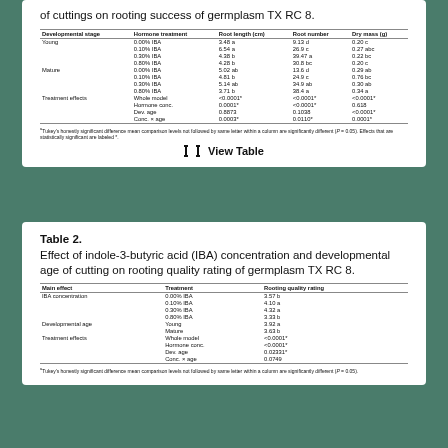of cuttings on rooting success of germplasm TX RC 8.
| Developmental stage | Hormone treatment | Root length (cm) | Root number | Dry mass (g) |
| --- | --- | --- | --- | --- |
| Young | 0.00% IBA | 3.48 a | 9.13 d | 0.20 c |
|  | 0.10% IBA | 6.54 a | 26.9 c | 0.27 abc |
|  | 0.30% IBA | 4.38 b | 39.47 a | 0.22 bc |
|  | 0.80% IBA | 4.28 b | 30.8 bc | 0.20 c |
| Mature | 0.00% IBA | 5.02 ab | 13.6 d | 0.29 ab |
|  | 0.10% IBA | 4.81 b | 24.9 c | 0.76 bc |
|  | 0.30% IBA | 5.14 ab | 34.9 ab | 0.30 ab |
|  | 0.80% IBA | 3.71 b | 38.4 a | 0.34 a |
| Treatment effects | Whole model | <0.0001* | <0.0001* | <0.0001* |
|  | Hormone conc. | 0.0001* | <0.0001* | 0.618 |
|  | Dev. age | 0.8873 | 0.1038 | <0.0001* |
|  | Conc. × age | 0.0003* | 0.0110* | 0.0001* |
aTukey's honestly significant difference mean comparison levels not followed by same letter within a column are significantly different (P = 0.05). Effects that are statistically significant are labeled *.
View Table
Table 2. Effect of indole-3-butyric acid (IBA) concentration and developmental age of cutting on rooting quality rating of germplasm TX RC 8.
| Main effect | Treatment | Rooting quality rating |
| --- | --- | --- |
| IBA concentration | 0.00% IBA | 3.57 b |
|  | 0.10% IBA | 4.10 a |
|  | 0.30% IBA | 4.32 a |
|  | 0.80% IBA | 3.33 b |
| Developmental age | Young | 3.92 a |
|  | Mature | 3.63 b |
| Treatment effects | Whole model | <0.0001* |
|  | Hormone conc. | <0.0001* |
|  | Dev. age | 0.02331* |
|  | Conc. × age | 0.0749 |
aTukey's honestly significant difference mean comparison levels not followed by same letter within a column are significantly different (P = 0.05).